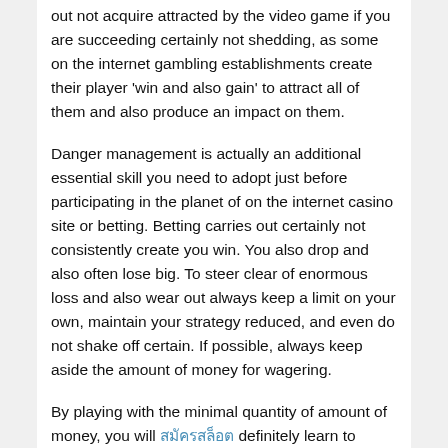out not acquire attracted by the video game if you are succeeding certainly not shedding, as some on the internet gambling establishments create their player 'win and also gain' to attract all of them and also produce an impact on them.
Danger management is actually an additional essential skill you need to adopt just before participating in the planet of on the internet casino site or betting. Betting carries out certainly not consistently create you win. You also drop and also often lose big. To steer clear of enormous loss and also wear out always keep a limit on your own, maintain your strategy reduced, and even do not shake off certain. If possible, always keep aside the amount of money for wagering.
By playing with the minimal quantity of amount of money, you will [link] definitely learn to review your steps and also find yourself with productive bets. When you recognize the total up to be actually utilized, your following action is actually the 'cease aim.' Make a decision and